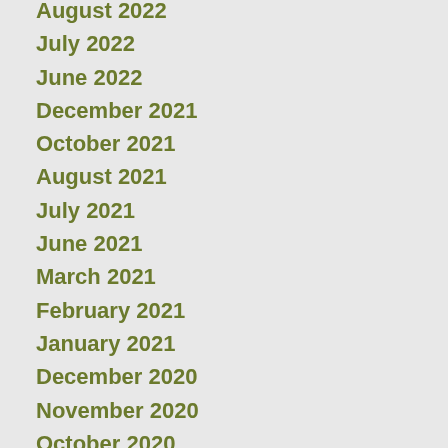August 2022
July 2022
June 2022
December 2021
October 2021
August 2021
July 2021
June 2021
March 2021
February 2021
January 2021
December 2020
November 2020
October 2020
September 2020
August 2020
July 2020
June 2020
May 2020